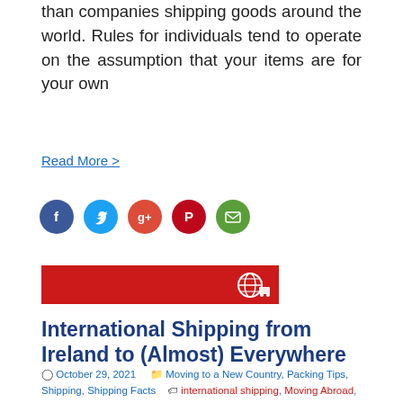than companies shipping goods around the world. Rules for individuals tend to operate on the assumption that your items are for your own
Read More >
[Figure (infographic): Five social sharing icon circles: Facebook (blue), Twitter (light blue), Google+ (red), Pinterest (dark red), Email (green)]
[Figure (illustration): Red horizontal banner with a white globe/shipping icon on the right side]
International Shipping from Ireland to (Almost) Everywhere
October 29, 2021   Moving to a New Country, Packing Tips, Shipping, Shipping Facts   international shipping, Moving Abroad, Shipping